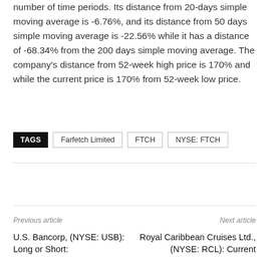number of time periods. Its distance from 20-days simple moving average is -6.76%, and its distance from 50 days simple moving average is -22.56% while it has a distance of -68.34% from the 200 days simple moving average. The company's distance from 52-week high price is 170% and while the current price is 170% from 52-week low price.
TAGS  Farfetch Limited  FTCH  NYSE: FTCH
Previous article
U.S. Bancorp, (NYSE: USB): Long or Short:
Next article
Royal Caribbean Cruises Ltd., (NYSE: RCL): Current